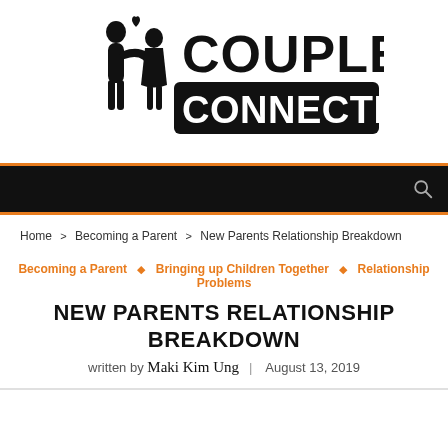[Figure (logo): Couple Connection logo — two figures embracing with a heart, next to bold text 'COUPLE CONNECTION']
Navigation bar with search icon
Home > Becoming a Parent > New Parents Relationship Breakdown
Becoming a Parent ◇ Bringing up Children Together ◇ Relationship Problems
NEW PARENTS RELATIONSHIP BREAKDOWN
written by Maki Kim Ung | August 13, 2019